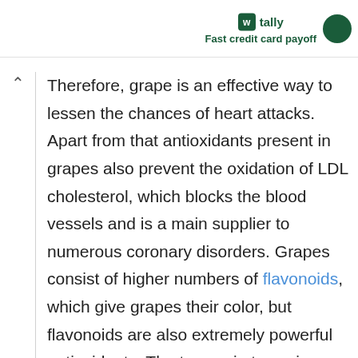tally Fast credit card payoff
Therefore, grape is an effective way to lessen the chances of heart attacks. Apart from that antioxidants present in grapes also prevent the oxidation of LDL cholesterol, which blocks the blood vessels and is a main supplier to numerous coronary disorders. Grapes consist of higher numbers of flavonoids, which give grapes their color, but flavonoids are also extremely powerful antioxidants. The two main types in grapes are resveratrol and quercetin,